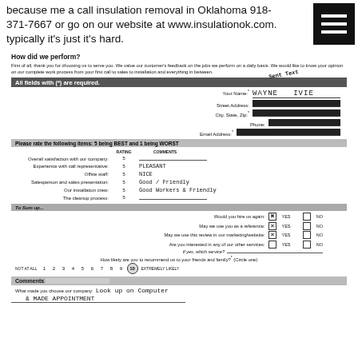because me a call insulation removal in Oklahoma 918-371-7667 or go on our website at www.insulationok.com. typically it's just it's hard.
[Figure (other): Menu hamburger icon — three white horizontal lines on black square background]
How did we perform?
First of all, thank you for choosing us to serve you. We value our customer's feedback on the jobs we perform on a daily basis. We would like to know your opinion on our complete work process from your first call to sales to installation and everything in between.
All fields with (*) are required.
Your Name: WAYNE IVIE
Street Address: [REDACTED]
City, State, Zip: [REDACTED]
Phone: [REDACTED]
Email Address: [REDACTED]
Please rate the following items: 5 being BEST and 1 being WORST
|  | RATING | COMMENTS |
| --- | --- | --- |
| Overall satisfaction with our company: | 5 |  |
| Experience with call representative: | 5 | PLEASANT |
| Office staff: | 5 | NICE |
| Salesperson and sales presentation: | 5 | Good / Friendly |
| Our installation crew: | 5 | Good Workers & Friendly |
| The cleanup process: | 5 |  |
To Sum up...
Would you hire us again: [X] YES  [ ] NO
May we use you as a reference: [X] YES  [ ] NO
May we use this review in our marketing/website: [X] YES  [ ] NO
Are you interested in any of our other services: [ ] YES  [ ] NO
If yes, which service?
How likely are you to recommend us to your friends and family? (Circle one) NOT AT ALL 1 2 3 4 5 6 7 8 9 10 EXTREMELY LIKELY
Comments
What made you choose our company: Look up on Computer & MADE APPOINTMENT